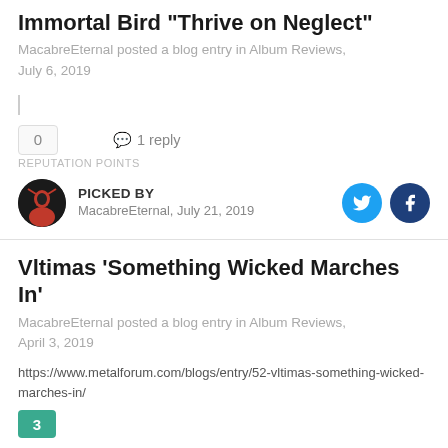Immortal Bird "Thrive on Neglect"
MacabreEternal posted a blog entry in Album Reviews, July 6, 2019
0
1 reply
REPUTATION POINTS
PICKED BY
MacabreEternal, July 21, 2019
Vltimas 'Something Wicked Marches In'
MacabreEternal posted a blog entry in Album Reviews, April 3, 2019
https://www.metalforum.com/blogs/entry/52-vltimas-something-wicked-marches-in/
3